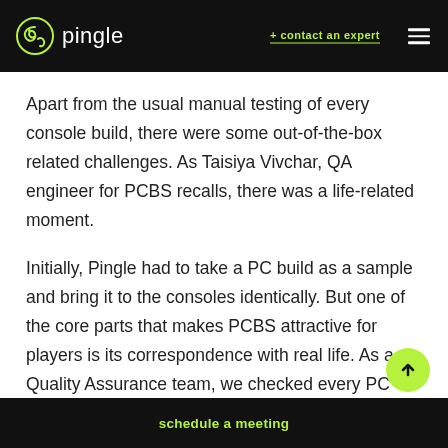pingle  + contact an expert
Apart from the usual manual testing of every console build, there were some out-of-the-box related challenges. As Taisiya Vivchar, QA engineer for PCBS recalls, there was a life-related moment.
Initially, Pingle had to take a PC build as a sample and bring it to the consoles identically. But one of the core parts that makes PCBS attractive for players is its correspondence with real life. As a Quality Assurance team, we checked every PC
schedule a meeting